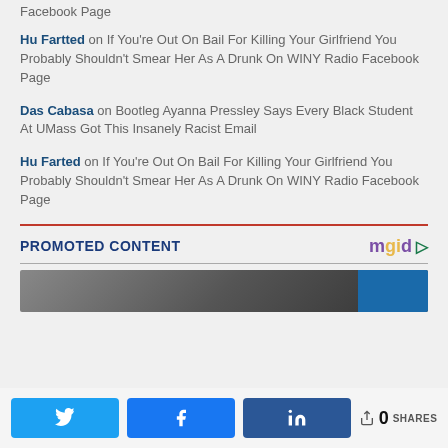Facebook Page
Hu Fartted on If You're Out On Bail For Killing Your Girlfriend You Probably Shouldn't Smear Her As A Drunk On WINY Radio Facebook Page
Das Cabasa on Bootleg Ayanna Pressley Says Every Black Student At UMass Got This Insanely Racist Email
Hu Farted on If You're Out On Bail For Killing Your Girlfriend You Probably Shouldn't Smear Her As A Drunk On WINY Radio Facebook Page
PROMOTED CONTENT
[Figure (photo): Promoted content image thumbnail, partially visible, dark/blurry with blue element on right]
Twitter share button, Facebook share button, LinkedIn share button, 0 SHARES